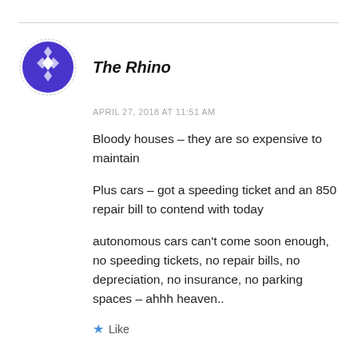[Figure (logo): Circular avatar with purple/indigo background and white diamond/rhombus pattern logo for user 'The Rhino']
The Rhino
APRIL 27, 2018 AT 11:51 AM
Bloody houses – they are so expensive to maintain
Plus cars – got a speeding ticket and an 850 repair bill to contend with today
autonomous cars can't come soon enough, no speeding tickets, no repair bills, no depreciation, no insurance, no parking spaces – ahhh heaven..
Like